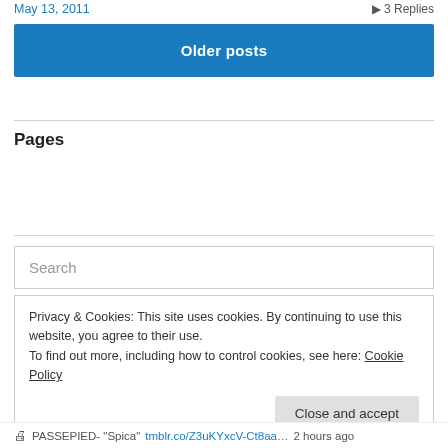May 13, 2011    ▶ 3 Replies
Older posts
Pages
About
Calendar
Search
Privacy & Cookies: This site uses cookies. By continuing to use this website, you agree to their use.
To find out more, including how to control cookies, see here: Cookie Policy
Close and accept
🖨 PASSEPIED- "Spica" tmblr.co/Z3uKYxcV-Ct8aa… 2 hours ago